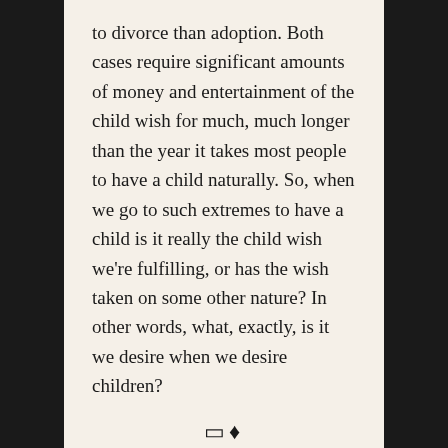to divorce than adoption. Both cases require significant amounts of money and entertainment of the child wish for much, much longer than the year it takes most people to have a child naturally. So, when we go to such extremes to have a child is it really the child wish we're fulfilling, or has the wish taken on some other nature? In other words, what, exactly, is it we desire when we desire children?
❑♦
I've always been fascinated by salamanders. Early on, I saw them retreating now and then beneath a ring of pioneer-laid stones around